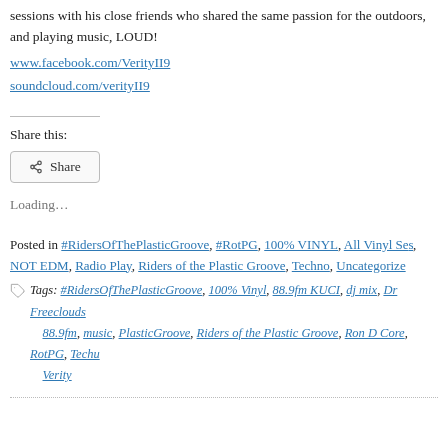sessions with his close friends who shared the same passion for the outdoors, and playing music, LOUD!
www.facebook.com/VerityII9
soundcloud.com/verityII9
Share this:
Share
Loading…
Posted in #RidersOfThePlasticGroove, #RotPG, 100% VINYL, All Vinyl Se..., NOT EDM, Radio Play, Riders of the Plastic Groove, Techno, Uncategorize...
Tags: #RidersOfThePlasticGroove, 100% Vinyl, 88.9fm KUCI, dj mix, Dr Freeclouds..., 88.9fm, music, PlasticGroove, Riders of the Plastic Groove, Ron D Core, RotPG, Techu..., Verity